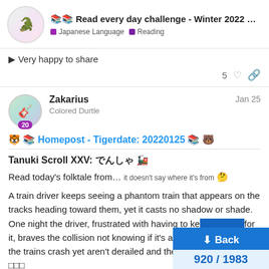📚📚 Read every day challenge - Winter 2022 … | Japanese Language | Reading
▶ Very happy to share
5 ♡ 🔗
Zakarius  Jan 25
Colored Durtle
20
🐯 📚 Homepost - Tigerdate: 20220125 📚 🐻
Tanuki Scroll XXV: でんしゃ 🚂
Read today's folktale from… it doesn't say where it's from 🤔
A train driver keeps seeing a phantom train that appears on the tracks heading toward them, yet it casts no shadow or shade. One night the driver, frustrated with having to ke[ep braking] for it, braves the collision not knowing if it's a ghost tr[ain or what,] the trains crash yet aren't derailed and the oth[er train...]
□□□